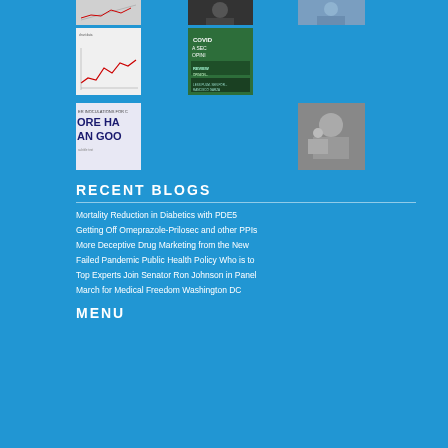[Figure (photo): Row of thumbnail images - chart/graph]
[Figure (photo): Row of thumbnail images - person portrait dark]
[Figure (photo): Row of thumbnail images - person portrait blue tint]
[Figure (photo): Thumbnail - line chart image]
[Figure (photo): Thumbnail - COVID second opinion book cover green]
[Figure (photo): Thumbnail - book cover More Harm than Good inoculations]
[Figure (photo): Thumbnail - black and white medical photo]
RECENT BLOGS
Mortality Reduction in Diabetics with PDE5
Getting Off Omeprazole-Prilosec and other PPIs
More Deceptive Drug Marketing from the New
Failed Pandemic Public Health Policy Who is to
Top Experts Join Senator Ron Johnson in Panel
March for Medical Freedom Washington DC
MENU